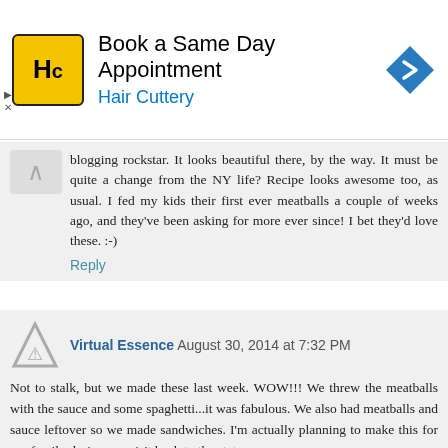[Figure (other): Hair Cuttery advertisement banner: logo with HC letters in yellow square, text 'Book a Same Day Appointment' and 'Hair Cuttery' in blue, navigation arrow icon on right]
blogging rockstar. It looks beautiful there, by the way. It must be quite a change from the NY life? Recipe looks awesome too, as usual. I fed my kids their first ever meatballs a couple of weeks ago, and they've been asking for more ever since! I bet they'd love these. :-)
Reply
Virtual Essence  August 30, 2014 at 7:32 PM
Not to stalk, but we made these last week. WOW!!! We threw the meatballs with the sauce and some spaghetti...it was fabulous. We also had meatballs and sauce leftover so we made sandwiches. I'm actually planning to make this for my family during my visit back to the states